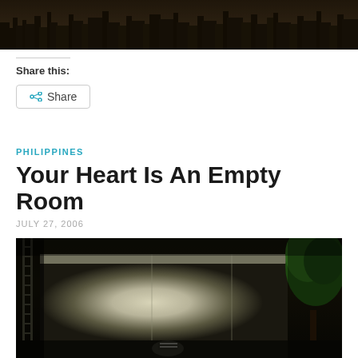[Figure (photo): Sepia-toned cityscape/skyline panorama photo at the top of the page]
Share this:
Share
PHILIPPINES
Your Heart Is An Empty Room
JULY 27, 2006
[Figure (photo): Outdoor photograph showing a weathered concrete wall with light patches, a tree on the right, and dark surroundings suggesting a Philippines location]